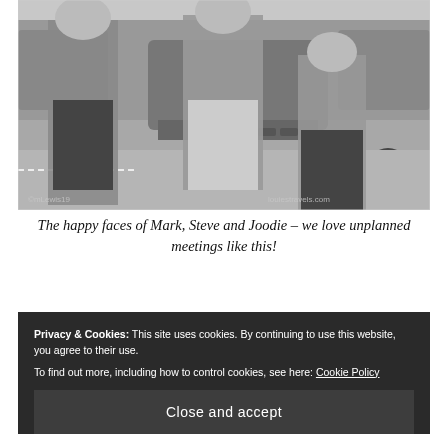[Figure (photo): Black and white photo of three people standing in a parking lot in front of cars. Two taller figures on the left and center, one shorter figure on the right, all smiling. Watermark text: ©mLewis19 and louiestravels.com]
The happy faces of Mark, Steve and Joodie – we love unplanned meetings like this!
Privacy & Cookies: This site uses cookies. By continuing to use this website, you agree to their use. To find out more, including how to control cookies, see here: Cookie Policy
Close and accept
Chasing Dirt. Although we'd been following each